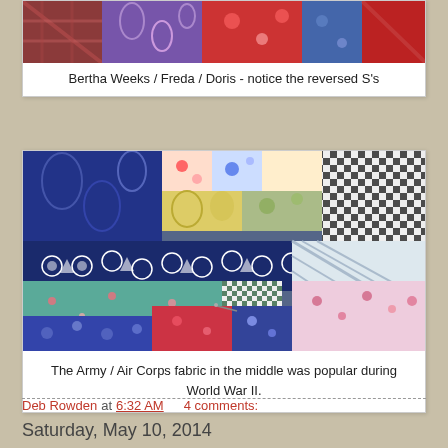[Figure (photo): Partial view of quilt fabrics with colorful patterned cloth pieces at the top of the page, cropped]
Bertha Weeks / Freda / Doris - notice the reversed S's
[Figure (photo): Close-up photo of a quilt showing various patterned fabrics including Army / Air Corps fabric with star/circle motifs in navy blue in the middle, surrounded by floral and checkered fabrics]
The Army / Air Corps fabric in the middle was popular during World War II.
Deb Rowden at 6:32 AM    4 comments:
Saturday, May 10, 2014